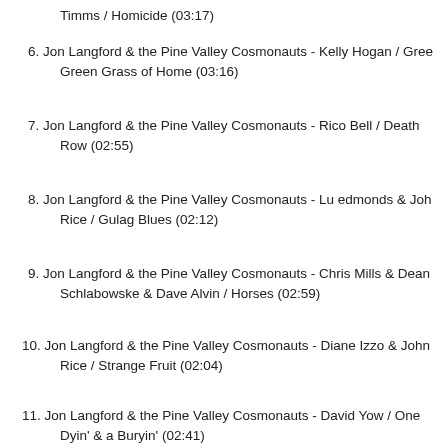Timms / Homicide (03:17)
6. Jon Langford & the Pine Valley Cosmonauts - Kelly Hogan / Green Green Grass of Home (03:16)
7. Jon Langford & the Pine Valley Cosmonauts - Rico Bell / Death Row (02:55)
8. Jon Langford & the Pine Valley Cosmonauts - Lu edmonds & John Rice / Gulag Blues (02:12)
9. Jon Langford & the Pine Valley Cosmonauts - Chris Mills & Dean Schlabowske & Dave Alvin / Horses (02:59)
10. Jon Langford & the Pine Valley Cosmonauts - Diane Izzo & John Rice / Strange Fruit (02:04)
11. Jon Langford & the Pine Valley Cosmonauts - David Yow / One Dyin' & a Buryin' (02:41)